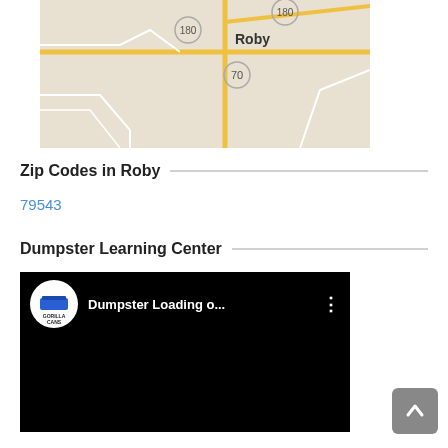[Figure (map): Street map showing Roby area with roads labeled 180 and 70]
Zip Codes in Roby
79543
Dumpster Learning Center
[Figure (screenshot): Video thumbnail showing Gorilla Cans logo and title 'Dumpster Loading o...' on black background]